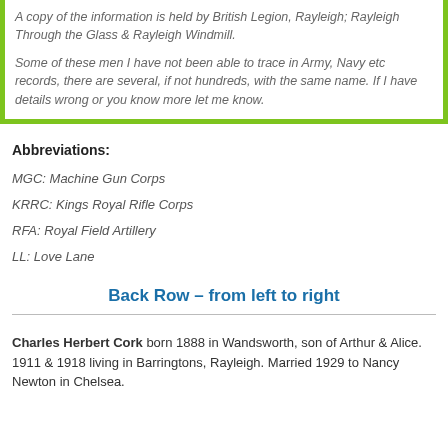A copy of the information is held by British Legion, Rayleigh; Rayleigh Through the Glass & Rayleigh Windmill.
Some of these men I have not been able to trace in Army, Navy etc records, there are several, if not hundreds, with the same name. If I have details wrong or you know more let me know.
Abbreviations:
MGC: Machine Gun Corps
KRRC: Kings Royal Rifle Corps
RFA: Royal Field Artillery
LL: Love Lane
Back Row – from left to right
Charles Herbert Cork born 1888 in Wandsworth, son of Arthur & Alice. 1911 & 1918 living in Barringtons, Rayleigh. Married 1929 to Nancy Newton in Chelsea.